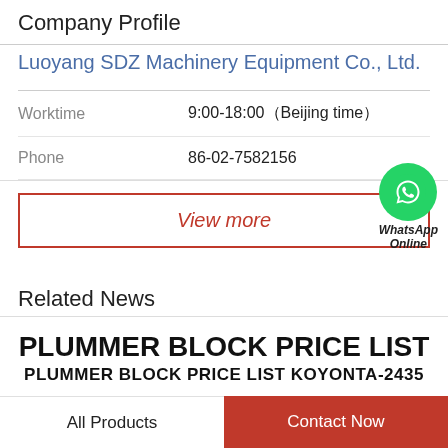Company Profile
Luoyang SDZ Machinery Equipment Co., Ltd.
| Worktime | 9:00-18:00（Beijing time） |
| Phone | 86-02-7582156 |
View more
[Figure (logo): WhatsApp green circle icon with phone handset, labeled WhatsApp Online]
Related News
PLUMMER BLOCK PRICE LIST
PLUMMER BLOCK PRICE LIST KOYONTA-2435
All Products
Contact Now